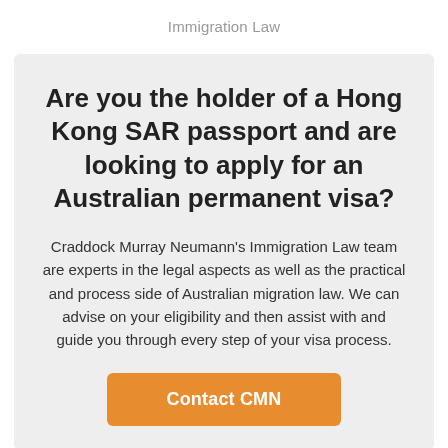Immigration Law
Are you the holder of a Hong Kong SAR passport and are looking to apply for an Australian permanent visa?
Craddock Murray Neumann's Immigration Law team are experts in the legal aspects as well as the practical and process side of Australian migration law. We can advise on your eligibility and then assist with and guide you through every step of your visa process.
Contact CMN